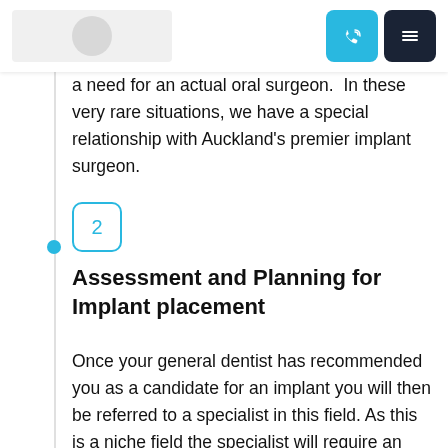[Logo] [Phone button] [Menu button]
a need for an actual oral surgeon.  In these very rare situations, we have a special relationship with Auckland's premier implant surgeon.
2
Assessment and Planning for Implant placement
Once your general dentist has recommended you as a candidate for an implant you will then be referred to a specialist in this field. As this is a niche field the specialist will require an assessment appointment where they will take further records and plan a case for you. As with most dental treatments, individual